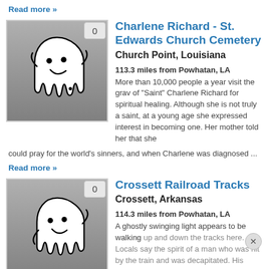Read more »
Charlene Richard - St. Edwards Church Cemetery
Church Point, Louisiana
113.3 miles from Powhatan, LA
More than 10,000 people a year visit the grave of "Saint" Charlene Richard for spiritual healing. Although she is not truly a saint, at a young age she expressed interest in becoming one. Her mother told her that she could pray for the world's sinners, and when Charlene was diagnosed ...
Read more »
Crossett Railroad Tracks
Crossett, Arkansas
114.3 miles from Powhatan, LA
A ghostly swinging light appears to be walking up and down the tracks here. Locals say the spirit of a man who was hit by the train and was decapitated. His ghost is ...